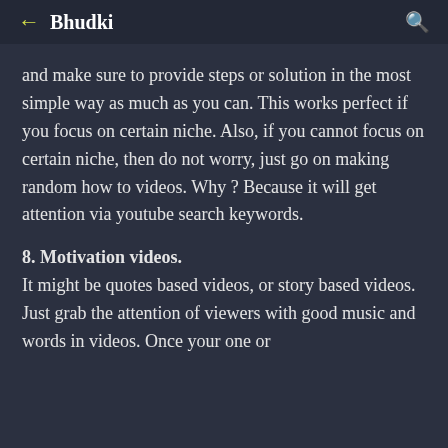← Bhudki
and make sure to provide steps or solution in the most simple way as much as you can. This works perfect if you focus on certain niche. Also, if you cannot focus on certain niche, then do not worry, just go on making random how to videos. Why ? Because it will get attention via youtube search keywords.
8. Motivation videos.
It might be quotes based videos, or story based videos. Just grab the attention of viewers with good music and words in videos. Once your one or